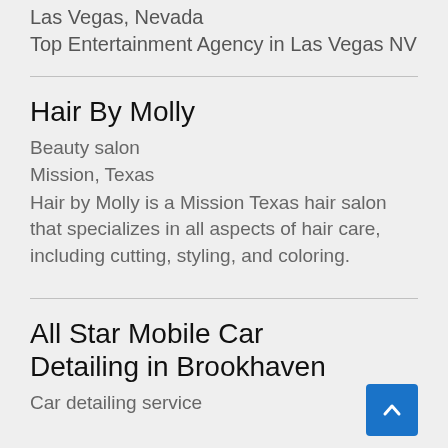Las Vegas, Nevada
Top Entertainment Agency in Las Vegas NV
Hair By Molly
Beauty salon
Mission, Texas
Hair by Molly is a Mission Texas hair salon that specializes in all aspects of hair care, including cutting, styling, and coloring.
All Star Mobile Car Detailing in Brookhaven
Car detailing service